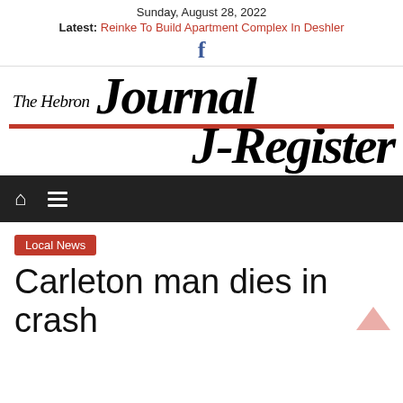Sunday, August 28, 2022
Latest: Reinke To Build Apartment Complex In Deshler
[Figure (logo): Facebook 'f' icon in blue]
[Figure (logo): The Hebron Journal-Register newspaper masthead logo in bold italic black serif font with a red horizontal rule]
[Figure (other): Navigation bar with home icon and hamburger menu icon on dark background]
Local News
Carleton man dies in crash